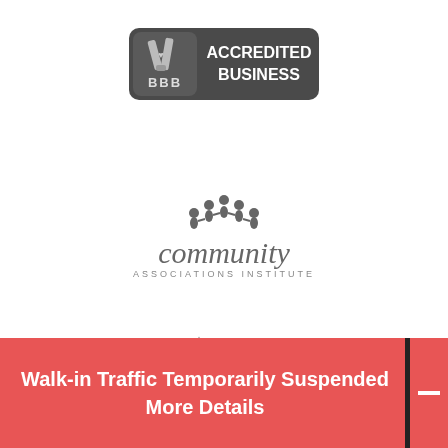[Figure (logo): BBB Accredited Business logo — dark gray rounded rectangle with the BBB torch/flame icon on the left and 'BBB ACCREDITED BUSINESS' text on the right in white/light text]
[Figure (logo): Community Associations Institute logo — crown-like icon of stylized people figures above the word 'community' in large gray lowercase letters, with 'ASSOCIATIONS INSTITUTE' in small spaced caps below]
[Figure (logo): Charlotte Area logo — outline drawing of a city skyline with tall buildings, labeled 'CHARLOTTE AREA' in serif/caps text below the skyline]
Walk-in Traffic Temporarily Suspended More Details